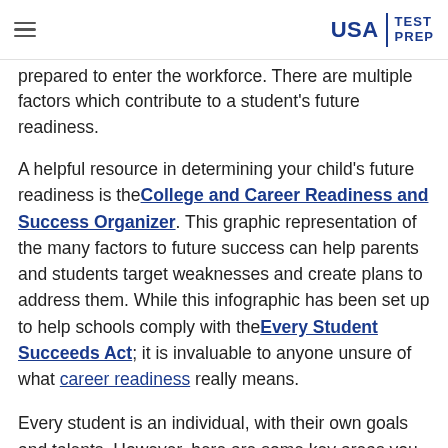USA TEST PREP
prepared to enter the workforce. There are multiple factors which contribute to a student's future readiness.
A helpful resource in determining your child's future readiness is the College and Career Readiness and Success Organizer. This graphic representation of the many factors to future success can help parents and students target weaknesses and create plans to address them. While this infographic has been set up to help schools comply with the Every Student Succeeds Act; it is invaluable to anyone unsure of what career readiness really means.
Every student is an individual, with their own goals and talents. However, here are some key areas you can focus on to help your high school student